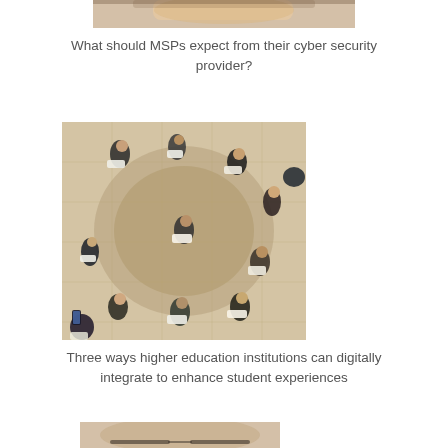[Figure (photo): Partial photo of a person's face/head at the top of the page, cropped]
What should MSPs expect from their cyber security provider?
[Figure (photo): Aerial view of a group of students sitting in a circle on a tiled outdoor plaza, holding books and papers]
Three ways higher education institutions can digitally integrate to enhance student experiences
[Figure (photo): Partial photo of a man wearing glasses, smiling, cropped at bottom of page]